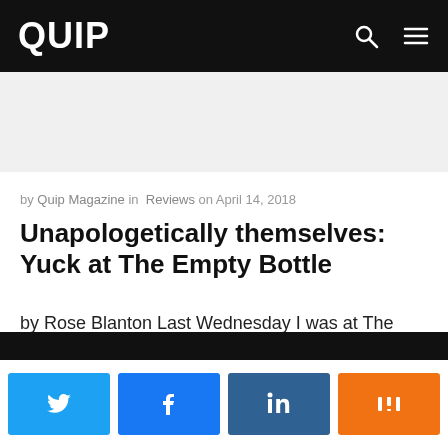QUIP
[Figure (other): Grey advertisement/banner placeholder area]
by Quip Magazine in Reviews on April 14, 2018
Unapologetically themselves: Yuck at The Empty Bottle
by Rose Blanton Last Wednesday I was at The Empty Bottle to catch Yuck for their Stranger Things tour. The ...
Twitter, Facebook, LinkedIn, Mix social share buttons